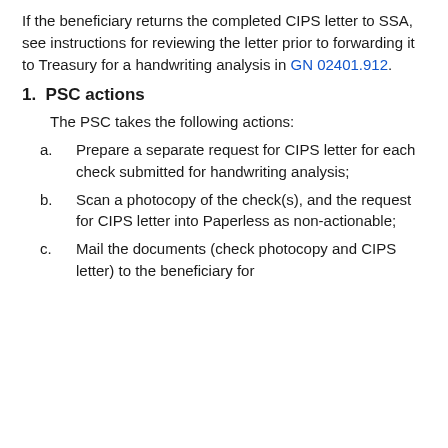If the beneficiary returns the completed CIPS letter to SSA, see instructions for reviewing the letter prior to forwarding it to Treasury for a handwriting analysis in GN 02401.912.
1. PSC actions
The PSC takes the following actions:
a. Prepare a separate request for CIPS letter for each check submitted for handwriting analysis;
b. Scan a photocopy of the check(s), and the request for CIPS letter into Paperless as non-actionable;
c. Mail the documents (check photocopy and CIPS letter) to the beneficiary for